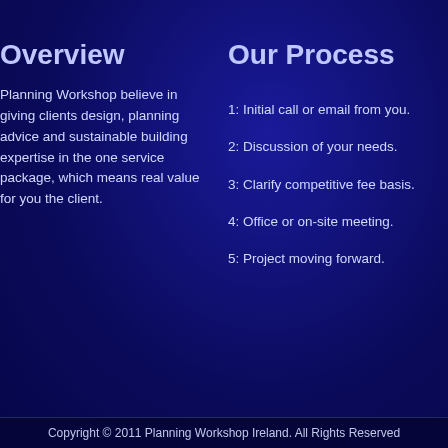Overview
Planning Workshop believe in giving clients design, planning advice and sustainable building expertise in the one service package, which means real value for you the client.
Our Process
1: Initial call or email from you.
2: Discussion of your needs.
3: Clarify competitive fee basis.
4: Office or on-site meeting.
5: Project moving forward.
Copyright © 2011 Planning Workshop Ireland. All Rights Reserved